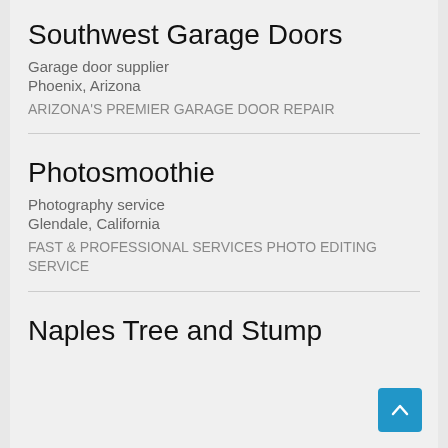Southwest Garage Doors
Garage door supplier
Phoenix, Arizona
ARIZONA'S PREMIER GARAGE DOOR REPAIR
Photosmoothie
Photography service
Glendale, California
FAST & PROFESSIONAL SERVICES PHOTO EDITING SERVICE
Naples Tree and Stump